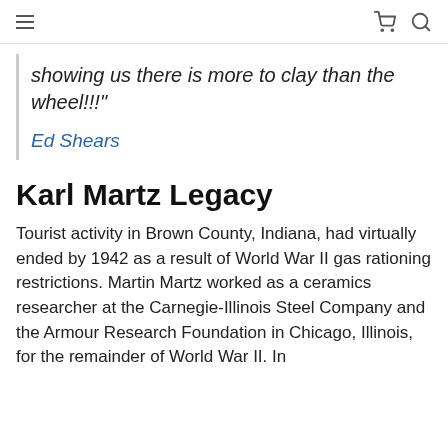≡  🛒  🔍
showing us there is more to clay than the wheel!!!"
Ed Shears
Karl Martz Legacy
Tourist activity in Brown County, Indiana, had virtually ended by 1942 as a result of World War II gas rationing restrictions. Martin Martz worked as a ceramics researcher at the Carnegie-Illinois Steel Company and the Armour Research Foundation in Chicago, Illinois, for the remainder of World War II. In